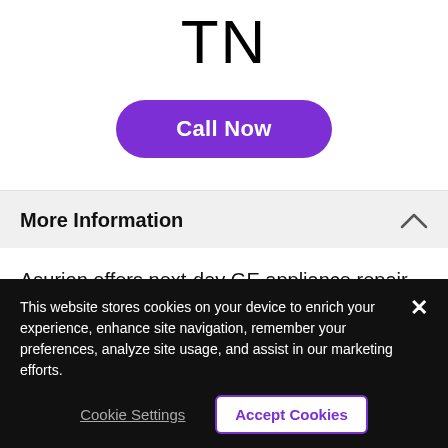TN
[Figure (other): Purple 'Call Now' button with rounded corners]
More Information
Asurion offers next-day GE appliance repair services in Clarksville, TN, so you can get your appliances back on track and keep life running smoothly.
This website stores cookies on your device to enrich your experience, enhance site navigation, remember your preferences, analyze site usage, and assist in our marketing efforts.
Cookie Settings
Accept Cookies